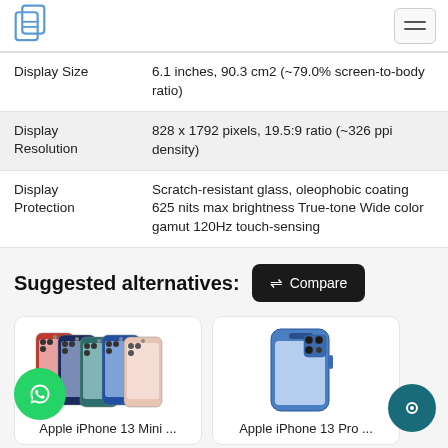Logo and navigation header
| Spec | Value |
| --- | --- |
| Display Size | 6.1 inches, 90.3 cm2 (~79.0% screen-to-body ratio) |
| Display Resolution | 828 x 1792 pixels, 19.5:9 ratio (~326 ppi density) |
| Display Protection | Scratch-resistant glass, oleophobic coating 625 nits max brightness True-tone Wide color gamut 120Hz touch-sensing |
Suggested alternatives:
[Figure (screenshot): Compare button with arrows icon]
[Figure (photo): Apple iPhone 13 Mini product image showing multiple color variants]
Apple iPhone 13 Mini ...
[Figure (photo): Apple iPhone 13 Pro product image in blue color]
Apple iPhone 13 Pro ...